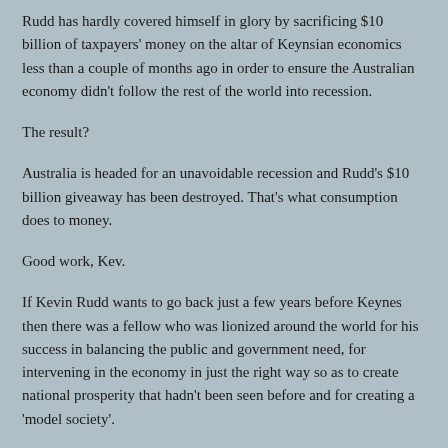Rudd has hardly covered himself in glory by sacrificing $10 billion of taxpayers' money on the altar of Keynsian economics less than a couple of months ago in order to ensure the Australian economy didn't follow the rest of the world into recession.
The result?
Australia is headed for an unavoidable recession and Rudd's $10 billion giveaway has been destroyed. That's what consumption does to money.
Good work, Kev.
If Kevin Rudd wants to go back just a few years before Keynes then there was a fellow who was lionized around the world for his success in balancing the public and government need, for intervening in the economy in just the right way so as to create national prosperity that hadn't been seen before and for creating a 'model society'.
Who was this man, this giant who Churchill dubbed 'the world's greatest living lawgiver', who was lauded by Freud and Einstein, and who earned the praise of leading Fabian Socialists of the time such as H.G. Wells?